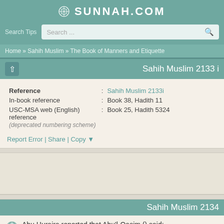SUNNAH.COM
Search Tips  Search ...
Home » Sahih Muslim » The Book of Manners and Etiquette
Sahih Muslim 2133 i
| Field | Colon | Value |
| --- | --- | --- |
| Reference | : | Sahih Muslim 2133i |
| In-book reference | : | Book 38, Hadith 11 |
| USC-MSA web (English) reference (deprecated numbering scheme) | : | Book 25, Hadith 5324 |
Report Error | Share | Copy ▼
[Figure (other): Arabic text area (blank/decorative background)]
Sahih Muslim 2134
Abu Huraira reported that Abu'l-Qasim () said: